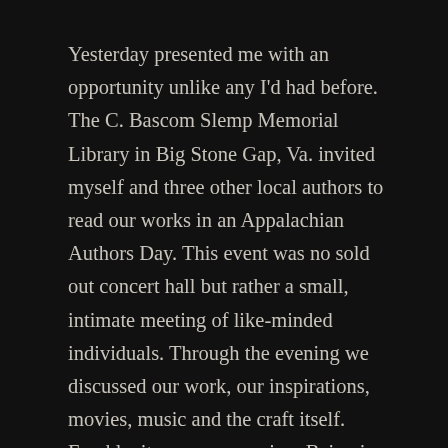Yesterday presented me with an opportunity unlike any I'd had before. The C. Bascom Slemp Memorial Library in Big Stone Gap, Va. invited myself and three other local authors to read our works in an Appalachian Authors Day. This event was no sold out concert hall but rather a small, intimate meeting of like-minded individuals. Through the evening we discussed our work, our inspirations, movies, music and the craft itself. Frankly, it was eye-opening. Being in a room with other authors who value writing the way I do, who write similar works, and who have conquered the “beginning stages” of publication that I’m now in was nothing short of a relief. It was kind of like when you’re a freshman in school and a senior offers to help you learn the ropes.